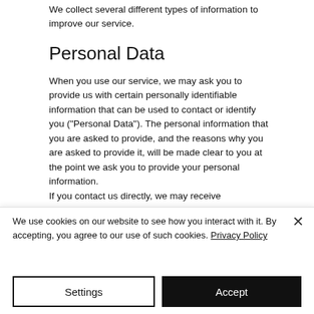We collect several different types of information to improve our service.
Personal Data
When you use our service, we may ask you to provide us with certain personally identifiable information that can be used to contact or identify you ("Personal Data"). The personal information that you are asked to provide, and the reasons why you are asked to provide it, will be made clear to you at the point we ask you to provide your personal information.
If you contact us directly, we may receive
We use cookies on our website to see how you interact with it. By accepting, you agree to our use of such cookies. Privacy Policy
Settings
Accept